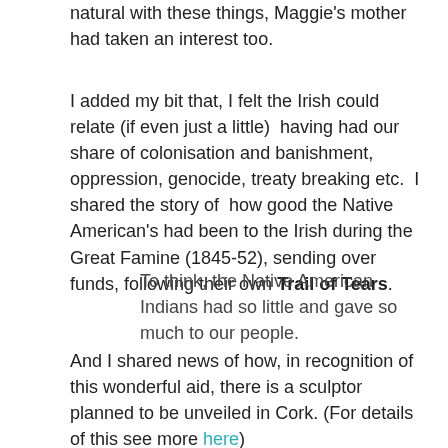natural with these things, Maggie's mother had taken an interest too.
I added my bit that, I felt the Irish could relate (if even just a little)  having had our share of colonisation and banishment, oppression, genocide, treaty breaking etc.  I shared the story of  how good the Native American's had been to the Irish during the Great Famine (1845-52), sending over funds, following their own Trail of Tears.
To think, the Native American Indians had so little and gave so much to our people.
And I shared news of how, in recognition of this wonderful aid, there is a sculptor planned to be unveiled in Cork. (For details of this see more here)